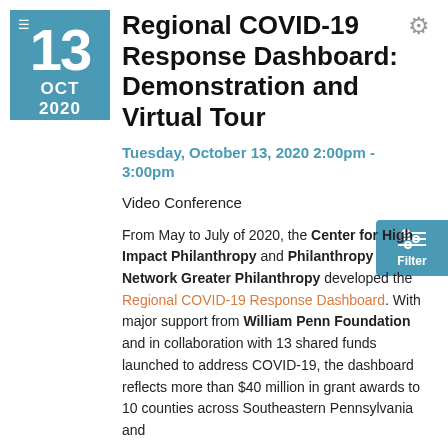[Figure (other): Date badge showing 13 OCT 2020 with teal background and hamburger menu icon]
Regional COVID-19 Response Dashboard: Demonstration and Virtual Tour
Tuesday, October 13, 2020 2:00pm - 3:00pm
Video Conference
From May to July of 2020, the Center for High Impact Philanthropy and Philanthropy Network Greater Philanthropy developed the Regional COVID-19 Response Dashboard. With major support from William Penn Foundation and in collaboration with 13 shared funds launched to address COVID-19, the dashboard reflects more than $40 million in grant awards to 10 counties across Southeastern Pennsylvania and